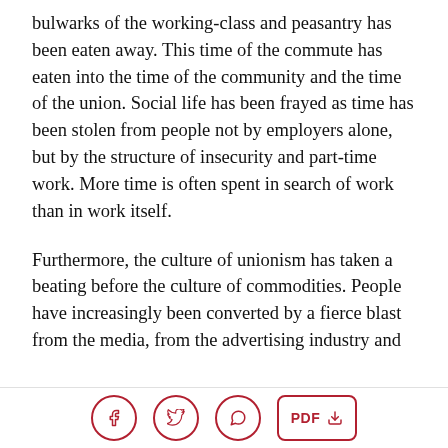bulwarks of the working-class and peasantry has been eaten away. This time of the commute has eaten into the time of the community and the time of the union. Social life has been frayed as time has been stolen from people not by employers alone, but by the structure of insecurity and part-time work. More time is often spent in search of work than in work itself.
Furthermore, the culture of unionism has taken a beating before the culture of commodities. People have increasingly been converted by a fierce blast from the media, from the advertising industry and
Social share icons: Facebook, Twitter, WhatsApp, PDF download